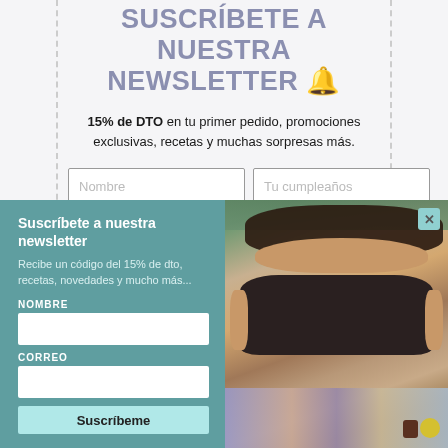SUSCRÍBETE A NUESTRA NEWSLETTER 🔔
15% de DTO en tu primer pedido, promociones exclusivas, recetas y muchas sorpresas más.
Nombre | Tu cumpleaños
Suscríbete a nuestra newsletter
Recibe un código del 15% de dto, recetas, novedades y mucho más...
NOMBRE
CORREO
Suscríbeme
[Figure (photo): Woman with curly dark hair sitting on a picnic blanket outdoors, looking down at food/cherries. She is wearing a dark tank top and jeans. Green grass in background.]